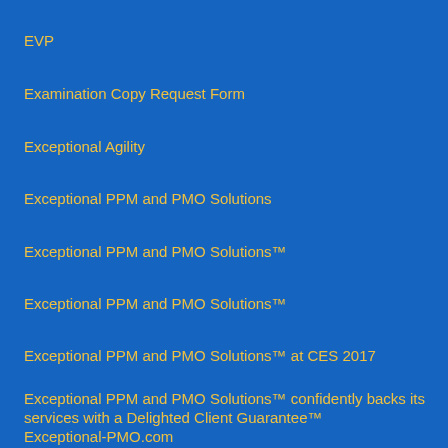EVP
Examination Copy Request Form
Exceptional Agility
Exceptional PPM and PMO Solutions
Exceptional PPM and PMO Solutions™
Exceptional PPM and PMO Solutions™
Exceptional PPM and PMO Solutions™ at CES 2017
Exceptional PPM and PMO Solutions™ confidently backs its services with a Delighted Client Guarantee™
Exceptional-PMO.com